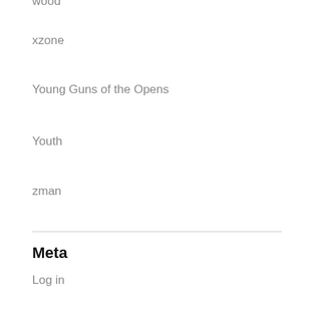wood
xzone
Young Guns of the Opens
Youth
zman
Meta
Log in
Entries feed
Comments feed
WordPress.org
Recent Comments